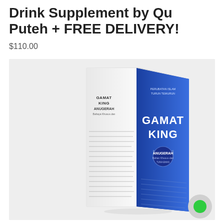Drink Supplement by Qu Puteh + FREE DELIVERY!
$110.00
[Figure (photo): Product photo of Gamat King Anugerah drink supplement box, white and blue packaging, tall rectangular box, on white background. A chat bubble icon appears in the bottom right corner.]